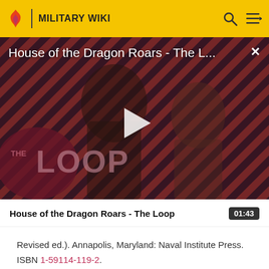MILITARY WIKI
[Figure (screenshot): Video thumbnail for 'House of the Dragon Roars - The L...' showing two characters from House of the Dragon against a diagonal red and black striped background. 'THE LOOP' text is overlaid. A play button is visible in the center.]
House of the Dragon Roars - The Loop
Revised ed.). Annapolis, Maryland: Naval Institute Press. ISBN 1-59114-119-2.